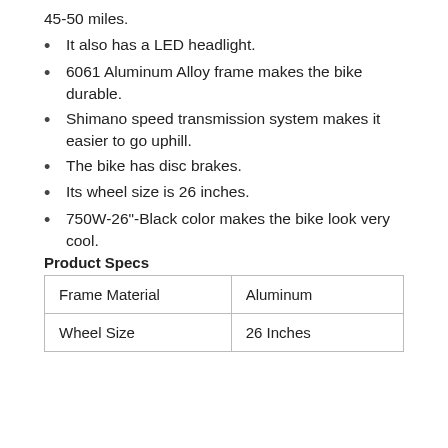45-50 miles.
It also has a LED headlight.
6061 Aluminum Alloy frame makes the bike durable.
Shimano speed transmission system makes it easier to go uphill.
The bike has disc brakes.
Its wheel size is 26 inches.
750W-26"-Black color makes the bike look very cool.
Product Specs
| Frame Material | Aluminum |
| --- | --- |
| Wheel Size | 26 Inches |